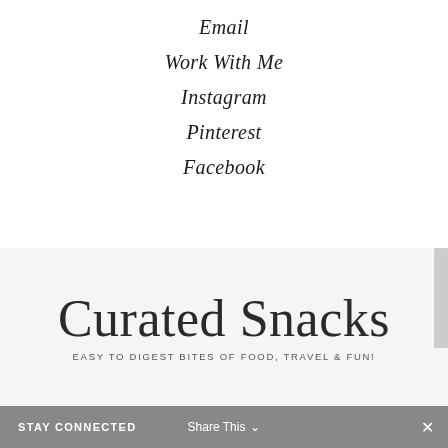Email
Work With Me
Instagram
Pinterest
Facebook
[Figure (logo): Curated Snacks script logo with tagline EASY TO DIGEST BITES OF FOOD, TRAVEL & FUN!]
STAY CONNECTED  Share This ∨  ×